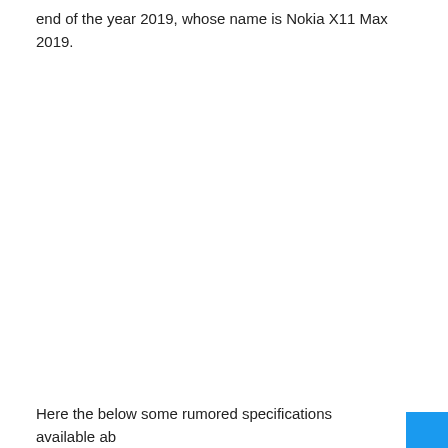end of the year 2019, whose name is Nokia X11 Max 2019.
Here the below some rumored specifications available ab…